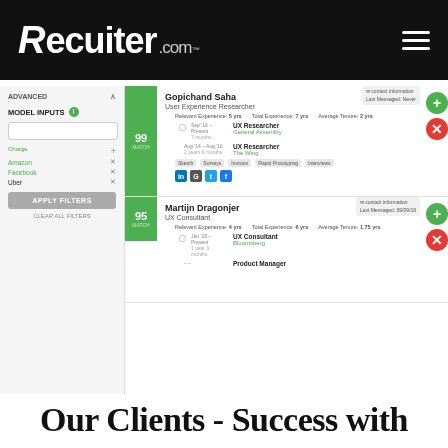Recruiter.com
[Figure (screenshot): Screenshot of Recruiter.com candidate search UI showing a left filter panel with MODEL INPUTS including Amazon, Facebook, Uber filters and APPLY FILTERS button, and a right panel showing two candidate cards: Gopichand Saha (User Experience Researcher, 99 match score) and Martijn Dragonjer (UX Consultant, 95 match score) with experience details, job history, skills, social links, and contact/action buttons.]
Our Clients - Success with